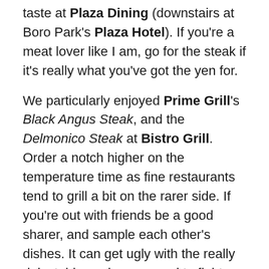taste at Plaza Dining (downstairs at Boro Park's Plaza Hotel). If you're a meat lover like I am, go for the steak if it's really what you've got the yen for.
We particularly enjoyed Prime Grill's Black Angus Steak, and the Delmonico Steak at Bistro Grill. Order a notch higher on the temperature time as fine restaurants tend to grill a bit on the rarer side. If you're out with friends be a good sharer, and sample each other's dishes. It can get ugly with the really delectable, so be prepared to fight them off with fork or skewer if they become voracious.
I'm usually too full by dessert time to get territorial.  Here a morsel of some heavenly delight is sufficient. Nothing alters vexation like a great dessert. We loved Les Marais' Crème Brûlée, Gusto Va Mare's Double Truffle and u cafe's Tricolor Cake.